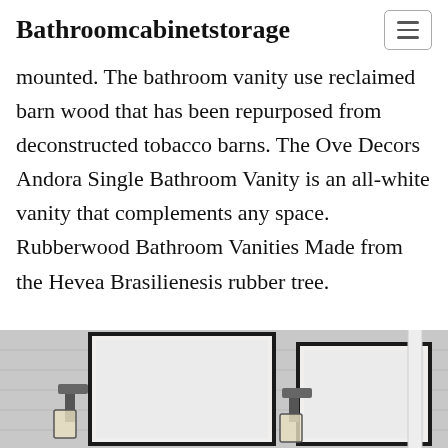Bathroomcabinetstorage
mounted. The bathroom vanity use reclaimed barn wood that has been repurposed from deconstructed tobacco barns. The Ove Decors Andora Single Bathroom Vanity is an all-white vanity that complements any space. Rubberwood Bathroom Vanities Made from the Hevea Brasilienesis rubber tree.
[Figure (photo): Photograph of a bathroom vanity setup showing two large framed mirrors mounted on a light gray shiplap wall with industrial-style wall sconce lights on either side, and a white vertical bar element on the right side.]